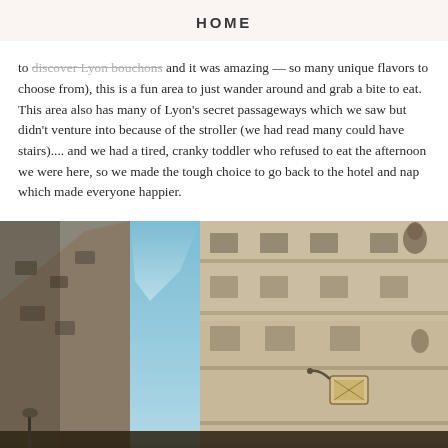HOME
to discover Lyon bouchons and it was amazing — so many unique flavors to choose from), this is a fun area to just wander around and grab a bite to eat.  This area also has many of Lyon's secret passageways which we saw but didn't venture into because of the stroller (we had read many could have stairs).... and we had a tired, cranky toddler who refused to eat the afternoon we were here, so we made the tough choice to go back to the hotel and nap which made everyone happier.
[Figure (photo): Looking up at narrow Lyon street flanked by tall historic stone buildings with ornate carvings and a decorative shop sign, blue sky visible between the buildings]